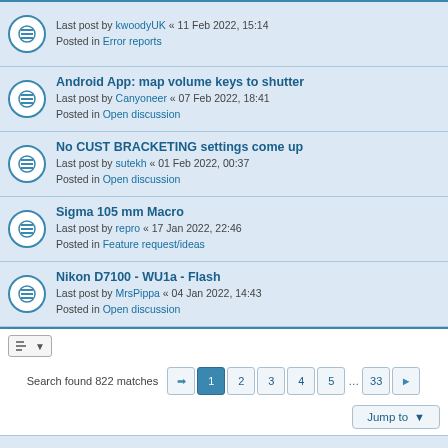Last post by kwoodyUK « 11 Feb 2022, 15:14
Posted in Error reports
Android App: map volume keys to shutter
Last post by Canyoneer « 07 Feb 2022, 18:41
Posted in Open discussion
No CUST BRACKETING settings come up
Last post by sutekh « 01 Feb 2022, 00:37
Posted in Open discussion
Sigma 105 mm Macro
Last post by repro « 17 Jan 2022, 22:46
Posted in Feature request/ideas
Nikon D7100 - WU1a - Flash
Last post by MrsPippa « 04 Jan 2022, 14:43
Posted in Open discussion
Search found 822 matches  1 2 3 4 5 … 33
Jump to
qDslrDashboard  Board index   Delete cookies  All times are UTC
Powered by phpBB® Forum Software © phpBB Limited
Privacy | Terms